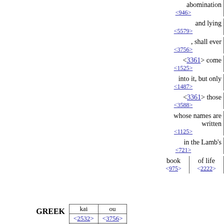abomination <946>
and lying <5579>
, shall ever <3756>
<3361> come <1525>
into it, but only <1487>
<3361> those <3588>
whose names are written <1125>
in the Lamb's <721>
book <975> of life <2222>
GREEK kai <2532> CONJ | ou <3756> PRT-N